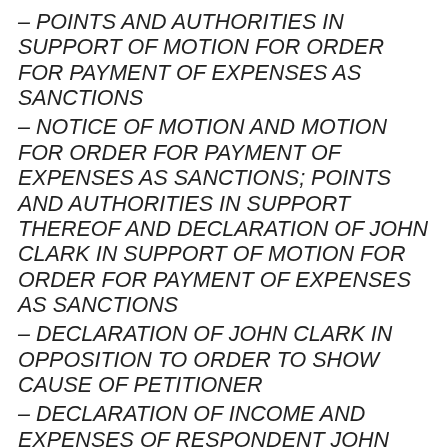– POINTS AND AUTHORITIES IN SUPPORT OF MOTION FOR ORDER FOR PAYMENT OF EXPENSES AS SANCTIONS
– NOTICE OF MOTION AND MOTION FOR ORDER FOR PAYMENT OF EXPENSES AS SANCTIONS; POINTS AND AUTHORITIES IN SUPPORT THEREOF AND DECLARATION OF JOHN CLARK IN SUPPORT OF MOTION FOR ORDER FOR PAYMENT OF EXPENSES AS SANCTIONS
– DECLARATION OF JOHN CLARK IN OPPOSITION TO ORDER TO SHOW CAUSE OF PETITIONER
– DECLARATION OF INCOME AND EXPENSES OF RESPONDENT JOHN CLARK
– FIRST AMENDED COMPLAINT FOR: 1. CONVERSION 2. BREACH OF CONTRACT 3. NEGLIGENCE 4. INTENTIONAL INFLICTION OF EMOTIONAL DISTRESS 5. ABUSE OF PROCESS 6. ASSAULT 7. BATTERY 8. ACCOUNTING